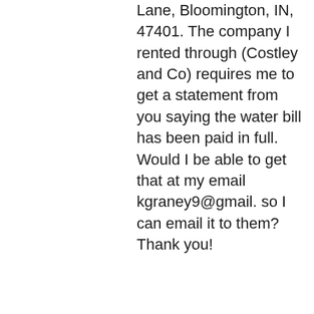Lane, Bloomington, IN, 47401. The company I rented through (Costley and Co) requires me to get a statement from you saying the water bill has been paid in full. Would I be able to get that at my email kgraney9@gmail. so I can email it to them? Thank you!